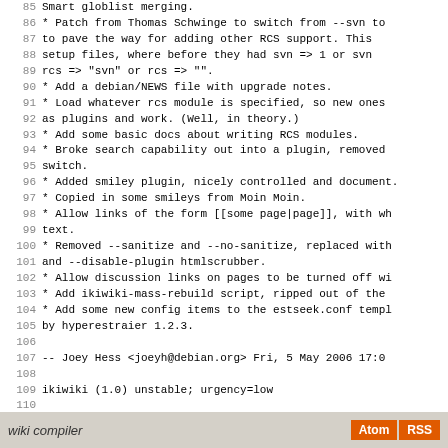85   Smart globlist merging.
86   * Patch from Thomas Schwinge to switch from --svn to
87     to pave the way for adding other RCS support. This
88     setup files, where before they had svn => 1 or svn
89     rcs => "svn" or rcs => "".
90   * Add a debian/NEWS file with upgrade notes.
91   * Load whatever rcs module is specified, so new ones
92     as plugins and work. (Well, in theory.)
93   * Add some basic docs about writing RCS modules.
94   * Broke search capability out into a plugin, removed
95     switch.
96   * Added smiley plugin, nicely controlled and document.
97   * Copied in some smileys from Moin Moin.
98   * Allow links of the form [[some page|page]], with wh
99     text.
100  * Removed --sanitize and --no-sanitize, replaced with
101    and --disable-plugin htmlscrubber.
102  * Allow discussion links on pages to be turned off wi
103  * Add ikiwiki-mass-rebuild script, ripped out of the
104  * Add some new config items to the estseek.conf templ
105    by hyperestraier 1.2.3.
106
107  -- Joey Hess <joeyh@debian.org>  Fri,  5 May 2006 17:0
108
109 ikiwiki (1.0) unstable; urgency=low
110
111  * First official release.
112
113  -- Joey Hess <joeyh@debian.org>  Tue, 25 Apr 2006 02:0
wiki compiler  Atom  RSS